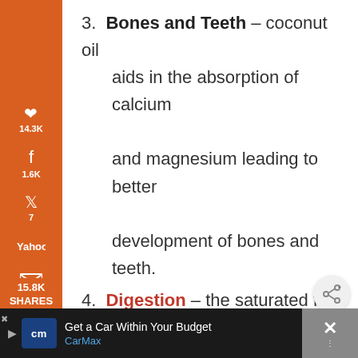3. Bones and Teeth – coconut oil aids in the absorption of calcium and magnesium leading to better development of bones and teeth.
4. Digestion – the saturated fats in coconut oil help control parasites and fungi that cause indigestion and other digestion related
[Figure (infographic): Orange vertical sidebar with social sharing icons: Pinterest (14.3K), Facebook (1.6K), Twitter (7), Yahoo, Email, Print. Total shares: 15.8K shown at bottom of sidebar.]
[Figure (infographic): Share button — circular grey button with share icon (connected dots)]
Get a Car Within Your Budget CarMax